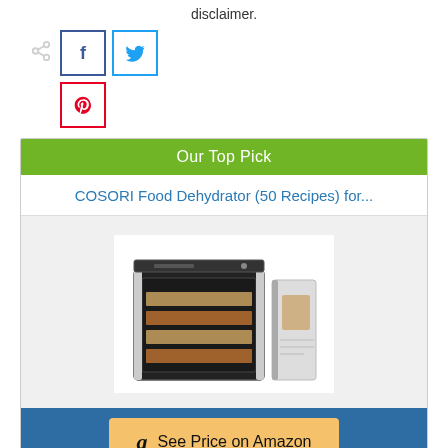disclaimer.
[Figure (other): Social share buttons: share icon, Facebook button (f), Twitter button (bird icon), Pinterest button (p)]
Our Top Pick
COSORI Food Dehydrator (50 Recipes) for...
[Figure (photo): Product image of COSORI Food Dehydrator with recipe book]
See Price on Amazon